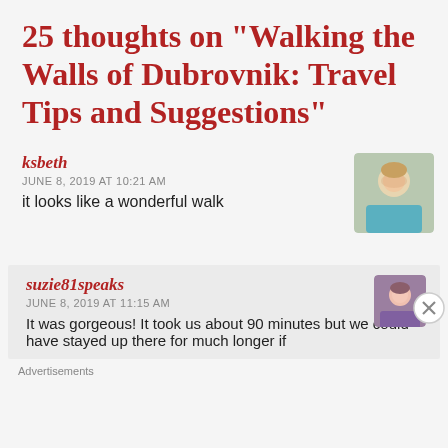25 thoughts on “Walking the Walls of Dubrovnik: Travel Tips and Suggestions”
ksbeth
JUNE 8, 2019 AT 10:21 AM
it looks like a wonderful walk
suzie81speaks
JUNE 8, 2019 AT 11:15 AM
It was gorgeous! It took us about 90 minutes but we could have stayed up there for much longer if
Advertisements